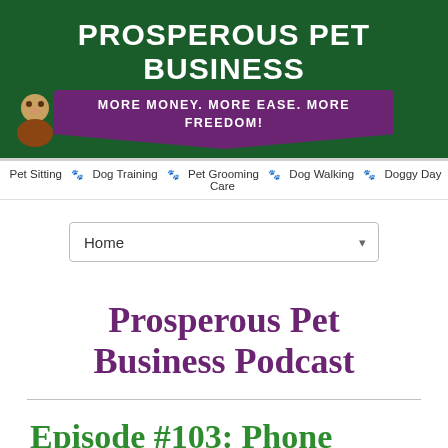[Figure (logo): Prosperous Pet Business website header banner with dark green background, large white bold title text 'PROSPEROUS PET BUSINESS', purple ribbon banner with text 'MORE MONEY. MORE EASE. MORE FREEDOM!', and a small cartoon character icon on the left.]
Pet Sitting 🐾 Dog Training 🐾 Pet Grooming 🐾 Dog Walking 🐾 Doggy Day Care
Home
Prosperous Pet Business Podcast
Episode #103: Phone